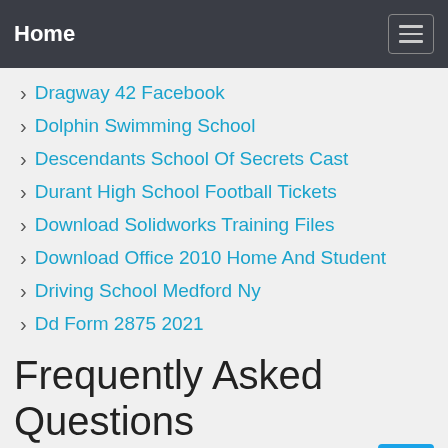Home
Dragway 42 Facebook
Dolphin Swimming School
Descendants School Of Secrets Cast
Durant High School Football Tickets
Download Solidworks Training Files
Download Office 2010 Home And Student
Driving School Medford Ny
Dd Form 2875 2021
Frequently Asked Questions
What is the dod fire certification program?